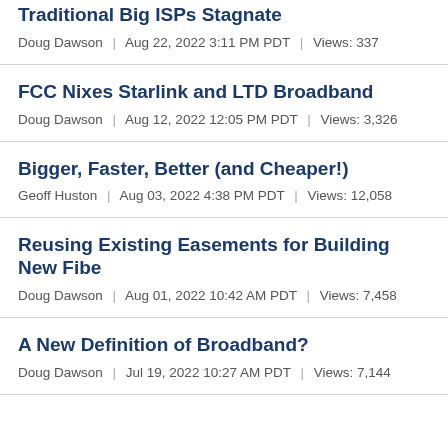Traditional Big ISPs Stagnate
Doug Dawson | Aug 22, 2022 3:11 PM PDT | Views: 337
FCC Nixes Starlink and LTD Broadband
Doug Dawson | Aug 12, 2022 12:05 PM PDT | Views: 3,326
Bigger, Faster, Better (and Cheaper!)
Geoff Huston | Aug 03, 2022 4:38 PM PDT | Views: 12,058
Reusing Existing Easements for Building New Fibe
Doug Dawson | Aug 01, 2022 10:42 AM PDT | Views: 7,458
A New Definition of Broadband?
Doug Dawson | Jul 19, 2022 10:27 AM PDT | Views: 7,144